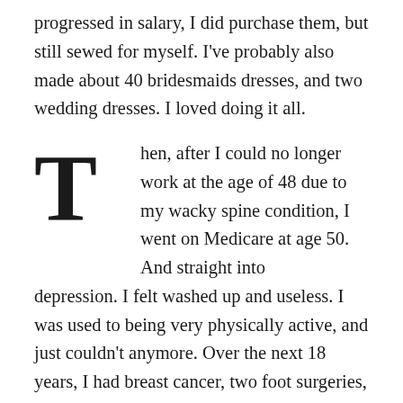progressed in salary, I did purchase them, but still sewed for myself. I've probably also made about 40 bridesmaids dresses, and two wedding dresses. I loved doing it all.
Then, after I could no longer work at the age of 48 due to my wacky spine condition, I went on Medicare at age 50. And straight into depression. I felt washed up and useless. I was used to being very physically active, and just couldn't anymore. Over the next 18 years, I had breast cancer, two foot surgeries, a badly broken ankle (all on the left foot!), and been through the Babe's extensive visits/procedures thanks to the US Government's use of Agent Orange during his tropical visit to Vietnam, and thanked God